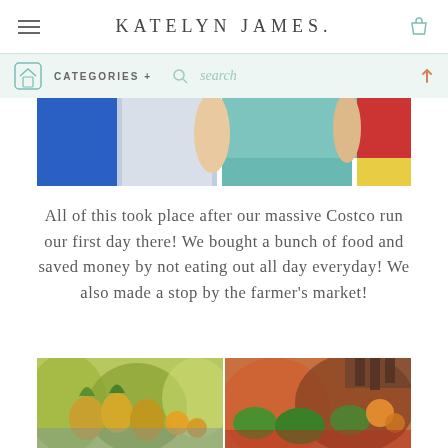KATELYN JAMES.
[Figure (screenshot): Website navigation bar with hamburger menu, KATELYN JAMES. logo, and shopping bag icon on white background with teal secondary nav showing home icon, CATEGORIES +, search field, and up arrow]
[Figure (photo): Cropped photo showing torsos of two people standing together, colorful blue and red background]
All of this took place after our massive Costco run our first day there! We bought a bunch of food and saved money by not eating out all day everyday! We also made a stop by the farmer’s market!
[Figure (photo): Two side-by-side photos of colorful fresh produce at a farmer's market, including pineapples and various fruits and vegetables]